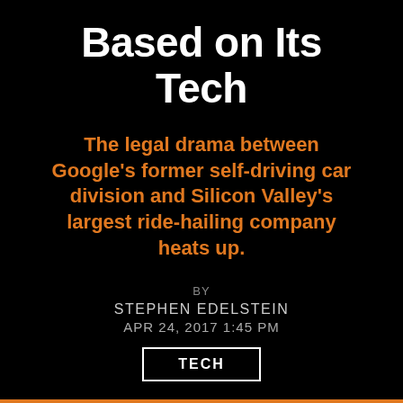Based on Its Tech
The legal drama between Google's former self-driving car division and Silicon Valley's largest ride-hailing company heats up.
BY
STEPHEN EDELSTEIN
APR 24, 2017 1:45 PM
TECH
[Figure (photo): A man in a grey sweater holding a microphone, with a truck bearing the Otto logo and other vehicles visible in the background inside a warehouse-like space.]